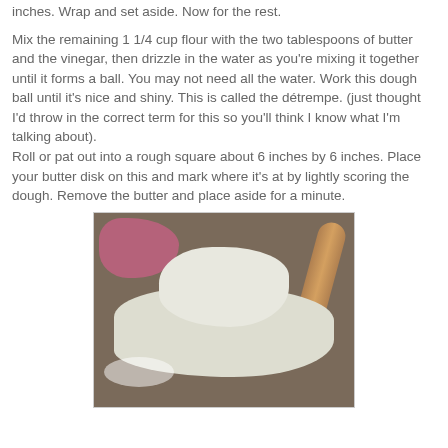inches.  Wrap and set aside.  Now for the rest.
Mix the remaining 1 1/4 cup flour with the two tablespoons of butter and the vinegar, then drizzle in the water as you're mixing it together until it forms a ball.   You may not need all the water.  Work this dough ball until it's nice and shiny.  This is called the détrempe.  (just thought I'd throw in the correct term for this so you'll think I know what I'm talking about).
Roll or pat out into a rough square about 6 inches by 6 inches.   Place your butter disk on this  and mark where it's at by lightly scoring the dough.  Remove the butter and place aside for a minute.
[Figure (photo): Photo of dough ball placed on top of flattened dough base on a dark countertop, with pink cloth/plastic wrap in the upper left and a rolling pin in the upper right]